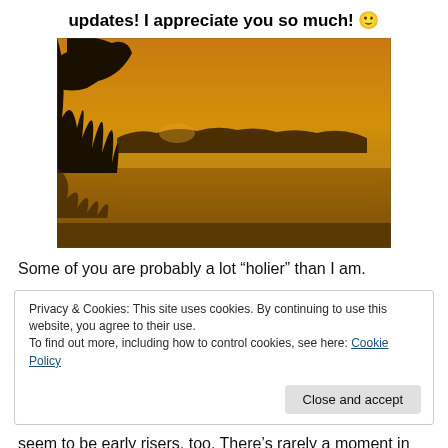updates! I appreciate you so much! 🙂
[Figure (photo): Sunset landscape photo showing silhouettes of trees on the left reflecting in calm water with an orange/golden sky]
Some of you are probably a lot “holier” than I am.
Privacy & Cookies: This site uses cookies. By continuing to use this website, you agree to their use.
To find out more, including how to control cookies, see here: Cookie Policy
[Close and accept button]
seem to be early risers, too. There’s rarely a moment in